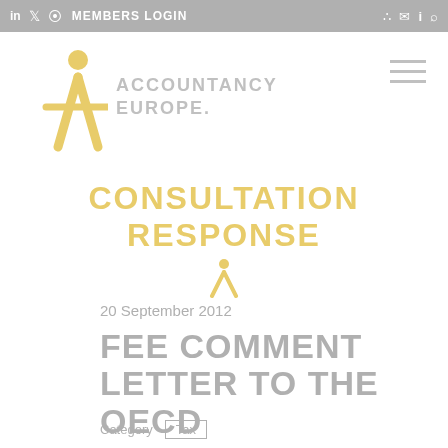in | twitter | rss | MEMBERS LOGIN | share | email | info | search
[Figure (logo): Accountancy Europe logo with yellow stick-figure person and grey text 'ACCOUNTANCY EUROPE.']
CONSULTATION RESPONSE
20 September 2012
FEE COMMENT LETTER TO THE OECD
Category   Tax